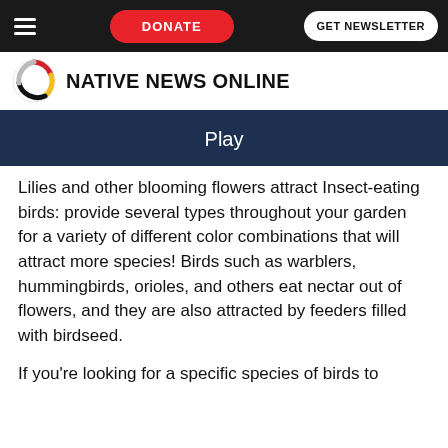DONATE | GET NEWSLETTER
[Figure (logo): Native News Online logo with circular emblem and bold uppercase text]
[Figure (other): Dark blue banner with text 'Play']
Lilies and other blooming flowers attract Insect-eating birds: provide several types throughout your garden for a variety of different color combinations that will attract more species! Birds such as warblers, hummingbirds, orioles, and others eat nectar out of flowers, and they are also attracted by feeders filled with birdseed.
If you're looking for a specific species of birds to